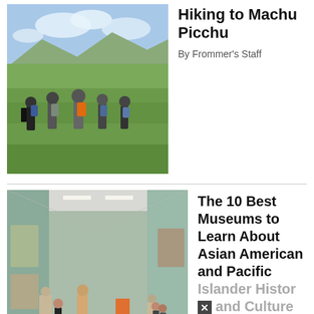[Figure (photo): Group of hikers with backpacks walking through green mountain meadow with mountains in background]
Hiking to Machu Picchu
By Frommer's Staff
[Figure (photo): Interior of an art museum gallery with sculptures on pedestals and visitors walking through]
The 10 Best Museums to Learn About Asian American and Pacific Islander History and Culture